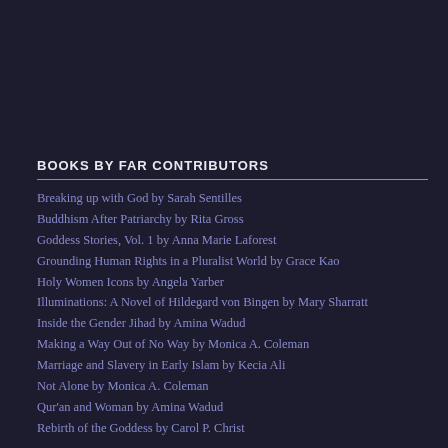BOOKS BY FAR CONTRIBUTORS
Breaking up with God by Sarah Sentilles
Buddhism After Patriarchy by Rita Gross
Goddess Stories, Vol. 1 by Anna Marie Laforest
Grounding Human Rights in a Pluralist World by Grace Kao
Holy Women Icons by Angela Yarber
Illuminations: A Novel of Hildegard von Bingen by Mary Sharratt
Inside the Gender Jihad by Amina Wadud
Making a Way Out of No Way by Monica A. Coleman
Marriage and Slavery in Early Islam by Kecia Ali
Not Alone by Monica A. Coleman
Qur'an and Woman by Amina Wadud
Rebirth of the Goddess by Carol P. Christ